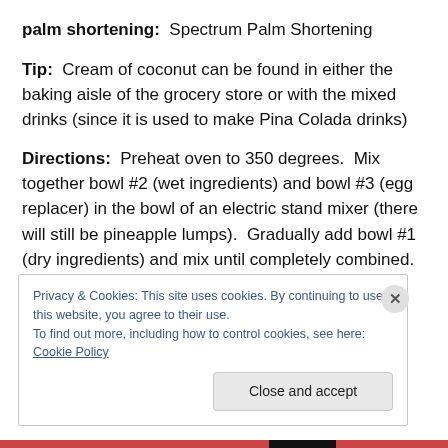palm shortening: Spectrum Palm Shortening
Tip: Cream of coconut can be found in either the baking aisle of the grocery store or with the mixed drinks (since it is used to make Pina Colada drinks)
Directions: Preheat oven to 350 degrees. Mix together bowl #2 (wet ingredients) and bowl #3 (egg replacer) in the bowl of an electric stand mixer (there will still be pineapple lumps). Gradually add bowl #1 (dry ingredients) and mix until completely combined. Place baking cup
Privacy & Cookies: This site uses cookies. By continuing to use this website, you agree to their use. To find out more, including how to control cookies, see here: Cookie Policy
Close and accept